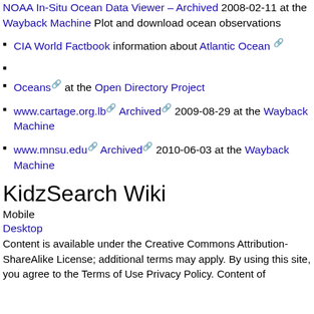NOAA In-Situ Ocean Data Viewer – Archived 2008-02-11 at the Wayback Machine Plot and download ocean observations
CIA World Factbook information about Atlantic Ocean
Oceans at the Open Directory Project
www.cartage.org.lb Archived 2009-08-29 at the Wayback Machine
www.mnsu.edu Archived 2010-06-03 at the Wayback Machine
KidzSearch Wiki
Mobile
Desktop
Content is available under the Creative Commons Attribution-ShareAlike License; additional terms may apply. By using this site, you agree to the Terms of Use Privacy Policy. Content of